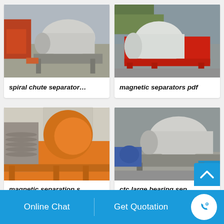[Figure (photo): Industrial spiral chute separator machine, gray colored, on factory floor with industrial equipment in background]
spiral chute separator…
[Figure (photo): Red magnetic separator machine outdoors in industrial yard with green crane/equipment in background]
magnetic separators pdf
[Figure (photo): Orange magnetic separation machine with spiral discs and large drum, in factory setting]
magnetic separation s…
[Figure (photo): Gray industrial drum magnetic separator machine in factory, partial view cut off at bottom]
ctc large bearing sep…
Online Chat
Get Quotation